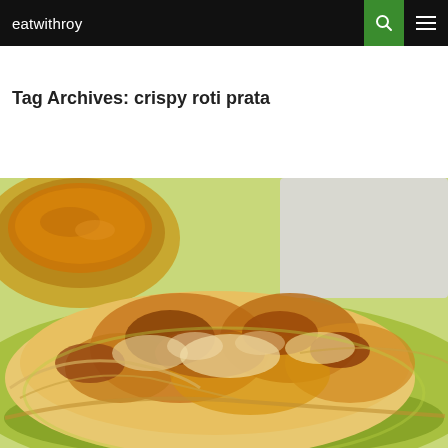eatwithroy
Tag Archives: crispy roti prata
[Figure (photo): Close-up photo of crispy roti prata on a green plate with a bowl of curry dipping sauce in the background]